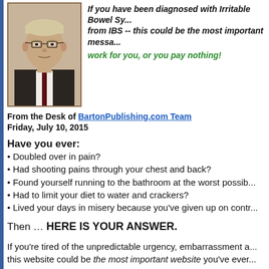[Figure (photo): Headshot photo of a middle-aged man with glasses, blonde/grey hair, wearing a dark suit with a white shirt and dark tie, against a neutral background.]
If you have been diagnosed with Irritable Bowel Sy... from IBS -- this could be the most important messa...
work for you, or you pay nothing!
From the Desk of BartonPublishing.com Team
Friday, July 10, 2015
Have you ever:
• Doubled over in pain?
• Had shooting pains through your chest and back?
• Found yourself running to the bathroom at the worst possib...
• Had to limit your diet to water and crackers?
• Lived your days in misery because you've given up on contr...
Then … HERE IS YOUR ANSWER.
If you're tired of the unpredictable urgency, embarrassment a... this website could be the most important website you've ever... answer to your prayers...